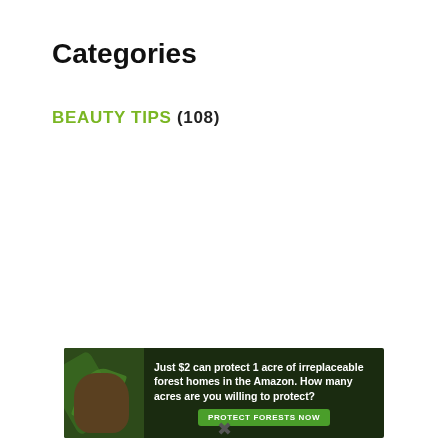Categories
BEAUTY TIPS (108)
[Figure (infographic): Advertisement banner: dark green forest background with a sloth or similar animal. Text reads: 'Just $2 can protect 1 acre of irreplaceable forest homes in the Amazon. How many acres are you willing to protect?' with a green button 'PROTECT FORESTS NOW']